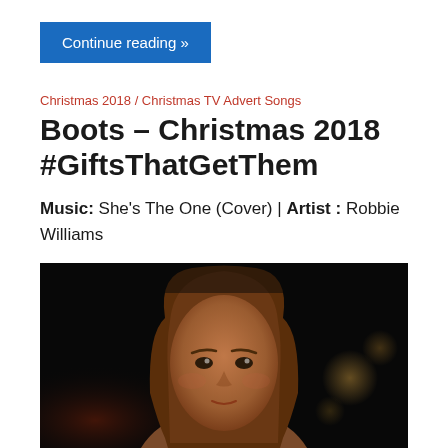Continue reading »
Christmas 2018 / Christmas TV Advert Songs
Boots – Christmas 2018 #GiftsThatGetThem
Music: She's The One (Cover) | Artist : Robbie Williams
[Figure (photo): Close-up of a young woman with brown hair against a dark background with blurred bokeh lights]